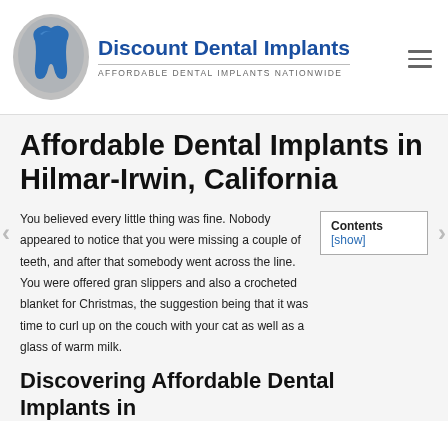Discount Dental Implants — AFFORDABLE DENTAL IMPLANTS NATIONWIDE
Affordable Dental Implants in Hilmar-Irwin, California
You believed every little thing was fine. Nobody appeared to notice that you were missing a couple of teeth, and after that somebody went across the line. You were offered gran slippers and also a crocheted blanket for Christmas, the suggestion being that it was time to curl up on the couch with your cat as well as a glass of warm milk.
Discovering Affordable Dental Implants in